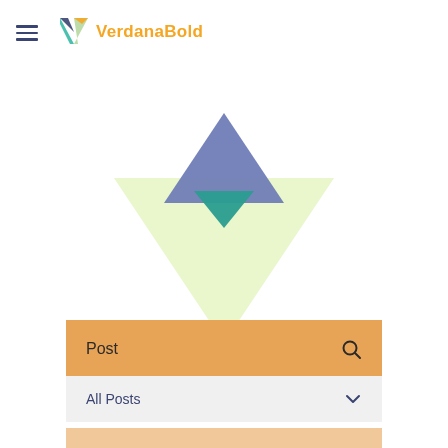VerdanaBold
[Figure (illustration): Three overlapping triangles: a medium slate-blue upward-pointing triangle at top, a small teal downward-pointing triangle in the middle, and a large light-yellow-green downward-pointing triangle at the bottom, creating a stacked arrow/chevron visual.]
Post
All Posts